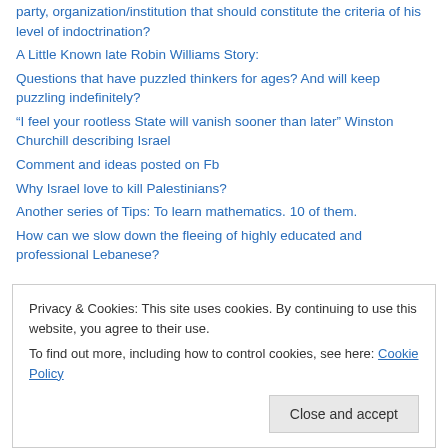party, organization/institution that should constitute the criteria of his level of indoctrination?
A Little Known late Robin Williams Story:
Questions that have puzzled thinkers for ages? And will keep puzzling indefinitely?
“I feel your rootless State will vanish sooner than later” Winston Churchill describing Israel
Comment and ideas posted on Fb
Why Israel love to kill Palestinians?
Another series of Tips: To learn mathematics. 10 of them.
How can we slow down the fleeing of highly educated and professional Lebanese?
Privacy & Cookies: This site uses cookies. By continuing to use this website, you agree to their use.
To find out more, including how to control cookies, see here: Cookie Policy
Close and accept